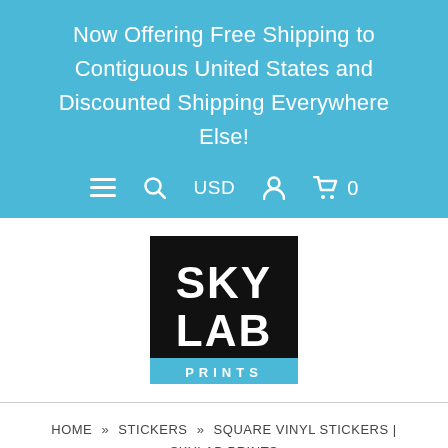Now Offering Free Shipping to Contiguous United States and Discounted Shipping Everywhere Else!
[Figure (screenshot): Navigation bar with menu icon, search icon, USD currency selector, account icon, and cart icon showing 0 items]
[Figure (logo): Skylab Prints logo: black square with white text SKY LAB and PRINTS in blue bar at bottom]
HOME » STICKERS » SQUARE VINYL STICKERS | SKYLAB PRINTS